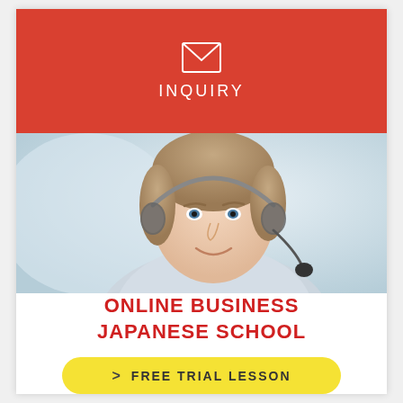[Figure (illustration): Envelope icon (mail symbol) in white on red background]
INQUIRY
[Figure (photo): Smiling man wearing a headset microphone, in a light blazer, against a light background — a customer support or online teacher representative]
ONLINE BUSINESS JAPANESE SCHOOL
> FREE TRIAL LESSON